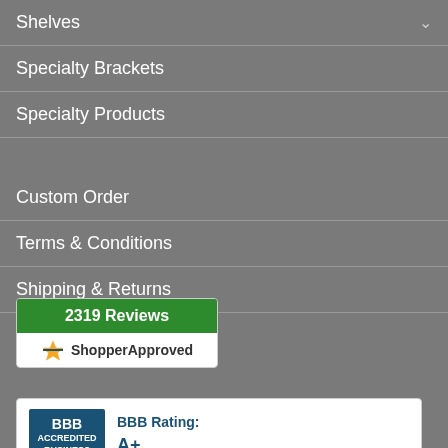Shelves
Specialty Brackets
Specialty Products
Custom Order
Terms & Conditions
Shipping & Returns
Privacy Policy
[Figure (logo): Shopper Approved badge showing 2319 Reviews with orange star logo]
[Figure (logo): BBB Accredited Business badge with BBB Rating: A+]